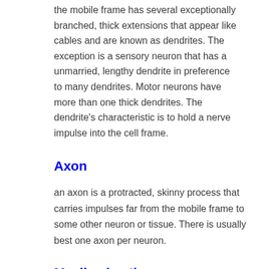the mobile frame has several exceptionally branched, thick extensions that appear like cables and are known as dendrites. The exception is a sensory neuron that has a unmarried, lengthy dendrite in preference to many dendrites. Motor neurons have more than one thick dendrites. The dendrite's characteristic is to hold a nerve impulse into the cell frame.
Axon
an axon is a protracted, skinny process that carries impulses far from the mobile frame to some other neuron or tissue. There is usually best one axon per neuron.
Myelin sheath
the neuron is covered with the myelin sheath or schwann cells. Those are white segmented covering round axons and dendrites of many peripheral neurons. The covering is